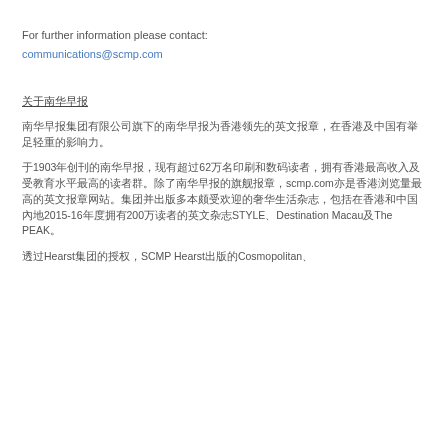For further information please contact:
communications@scmp.com
关于南华早报
南华早报集团有限公司旗下的南华早报为香港领先的英文报章，在香港及中国有举足轻重的影响力。
于1903年创刊的南华早报，现有超过62万名印刷和数码读者，拥有香港最高收入及受教育水平最高的读者群。除了南华早报的旗舰报章，scmp.com亦是香港浏览量最高的英文报章网站。集团并出版多本颇受欢迎的奢华生活杂志，包括在香港和中国內地2015-16年度拥有200万读者的英文杂志STYLE、Destination Macau及The PEAK。
透过Hearst集团的授权，SCMP Hearst出版的Cosmopolitan、